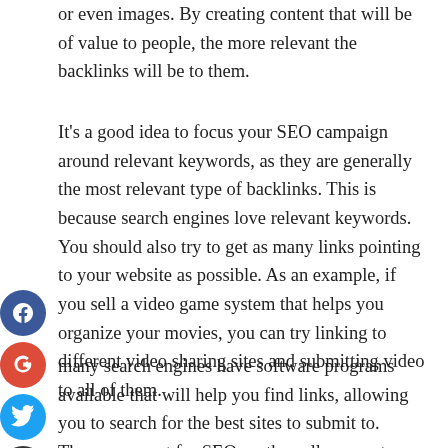or even images. By creating content that will be of value to people, the more relevant the backlinks will be to them.
It's a good idea to focus your SEO campaign around relevant keywords, as they are generally the most relevant type of backlinks. This is because search engines love relevant keywords. You should also try to get as many links pointing to your website as possible. As an example, if you sell a video game system that helps you organize your movies, you can try linking to different video sharing sites and submitting video to all of them.
many search engines have software programs available that will help you find links, allowing you to search for the best sites to submit to. These are great for SEO, as they allow you to search for links without having to know the exact keyword.